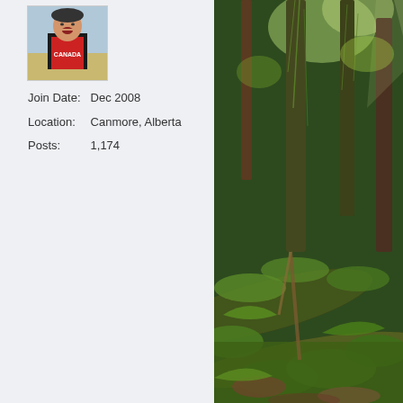[Figure (photo): Avatar/profile photo of a person laughing outdoors, wearing a red Canada shirt and black vest, with a field in the background]
Join Date: Dec 2008
Location: Canmore, Alberta
Posts: 1,174
[Figure (photo): Large nature photograph of a lush green temperate rainforest with moss-covered logs, ferns, and tall trees]